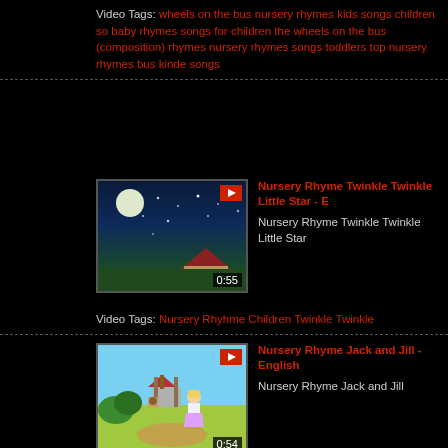Video Tags: wheels on the bus nursery rhymes kids songs children songs baby rhymes songs for children the wheels on the bus (composition) rhymes nursery rhymes songs toddlers top nursery rhymes bus kinder songs
[Figure (screenshot): Thumbnail for Nursery Rhyme Twinkle Twinkle Little Star video showing night sky with moon, house, and ground. Duration 0:55.]
Nursery Rhyme Twinkle Twinkle Little Star - E
Nursery Rhyme Twinkle Twinkle Little Star
Video Tags: Nursery Rhyhme Children Twinkle Twinkle
[Figure (screenshot): Thumbnail for Nursery Rhyme Jack and Jill video showing cartoon characters near a well. Duration 0:54.]
Nursery Rhyme Jack and Jill - English
Nursery Rhyme Jack and Jill